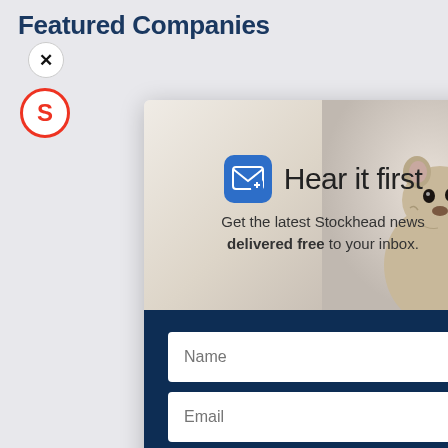Featured Companies
[Figure (screenshot): Email newsletter signup modal popup with close button (×), a mail icon, heading 'Hear it first', tagline 'Get the latest Stockhead news delivered free to your inbox.', Name input field, Email input field, and a teal SIGN ME UP button. A groundhog/prairie dog image appears in the top-right background of the modal. Behind the modal is a partial red circle S logo.]
Hear it first
Get the latest Stockhead news delivered free to your inbox.
Name
Email
SIGN ME UP